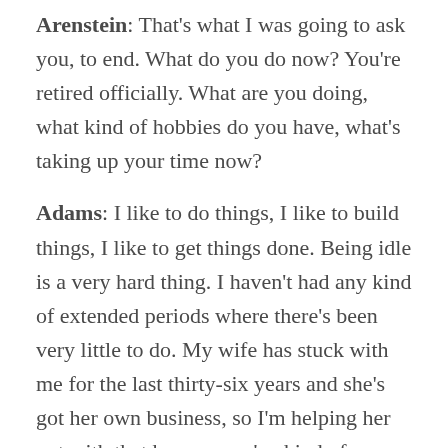Arenstein: That's what I was going to ask you, to end. What do you do now? You're retired officially. What are you doing, what kind of hobbies do you have, what's taking up your time now?
Adams: I like to do things, I like to build things, I like to get things done. Being idle is a very hard thing. I haven't had any kind of extended periods where there's been very little to do. My wife has stuck with me for the last thirty-six years and she's got her own business, so I'm helping her out with that because we've kind of pushed some of the domestic things and